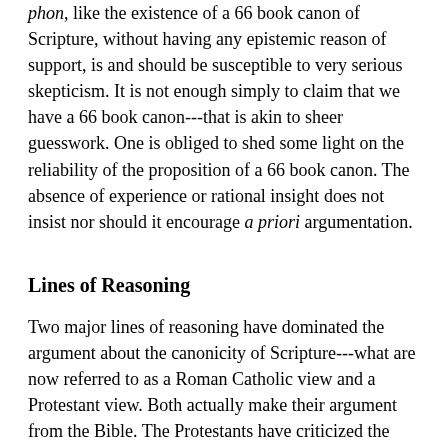phon, like the existence of a 66 book canon of Scripture, without having any epistemic reason of support, is and should be susceptible to very serious skepticism. It is not enough simply to claim that we have a 66 book canon---that is akin to sheer guesswork. One is obliged to shed some light on the reliability of the proposition of a 66 book canon. The absence of experience or rational insight does not insist nor should it encourage a priori argumentation.
Lines of Reasoning
Two major lines of reasoning have dominated the argument about the canonicity of Scripture---what are now referred to as a Roman Catholic view and a Protestant view. Both actually make their argument from the Bible. The Protestants have criticized the Roman Catholics for their circular reasoning, which goes something like this: the Bible says that the church sustains and safeguards Scripture, so the church determines which books are canonical. With this attack on circularity, the Protestants must defend against their own. The Protestants wished also to affirm the Bible as what ruled their belief about the Bible, maintaining sole